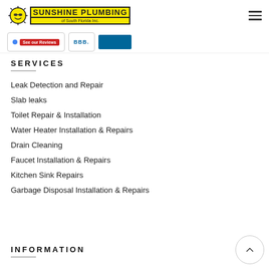[Figure (logo): Sunshine Plumbing of South Florida Inc. logo with yellow sun mascot and bold text]
[Figure (screenshot): Google reviews badge with 'See our Reviews' red button and BBB badge with teal bar]
SERVICES
Leak Detection and Repair
Slab leaks
Toilet Repair & Installation
Water Heater Installation & Repairs
Drain Cleaning
Faucet Installation & Repairs
Kitchen Sink Repairs
Garbage Disposal Installation & Repairs
INFORMATION